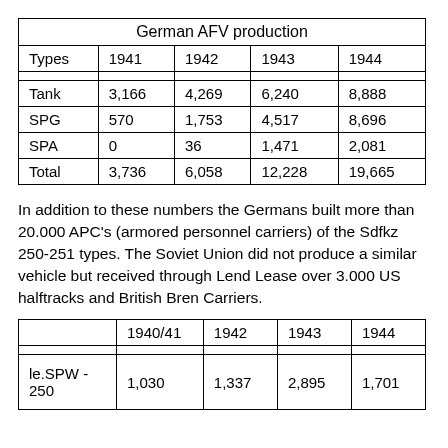| Types | 1941 | 1942 | 1943 | 1944 |
| --- | --- | --- | --- | --- |
| Tank | 3,166 | 4,269 | 6,240 | 8,888 |
| SPG | 570 | 1,753 | 4,517 | 8,696 |
| SPA | 0 | 36 | 1,471 | 2,081 |
| Total | 3,736 | 6,058 | 12,228 | 19,665 |
In addition to these numbers the Germans built more than 20.000 APC's (armored personnel carriers) of the Sdfkz 250-251 types. The Soviet Union did not produce a similar vehicle but received through Lend Lease over 3.000 US halftracks and British Bren Carriers.
|  | 1940/41 | 1942 | 1943 | 1944 |
| --- | --- | --- | --- | --- |
| le.SPW - 250 | 1,030 | 1,337 | 2,895 | 1,701 |